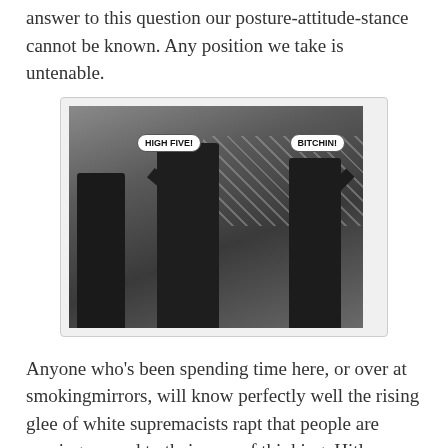answer to this question our posture-attitude-stance cannot be known. Any position we take is untenable.
[Figure (photo): Black and white photograph of military figures appearing to give a high five, with speech bubbles added reading 'HIGH FIVE!' and 'BITCHIN!']
Anyone who's been spending time here, or over at smokingmirrors, will know perfectly well the rising glee of white supremacists rapt that people are coming around to their way of thinking. Hitler was misrepresented they say. And they're right. He was. Just like every other thing. Says they, if you wonder at the wickedness of Jews, you've really